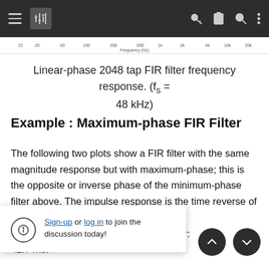Navigation bar with menu, filter icon, key, clipboard, search, and more icons
[Figure (continuous-plot): Partial frequency axis strip showing tick marks at 15, 20, 60, 100, 200, 600, 1k, 2k, 6k, 10k, 20k Hz with label 'Frequency (Hz)']
Linear-phase 2048 tap FIR filter frequency response. (fs = 48 kHz)
Example : Maximum-phase FIR Filter
The following two plots show a FIR filter with the same magnitude response but with maximum-phase; this is the opposite or inverse phase of the minimum-phase filter above. The impulse response is the time reverse of the minimum-phase ... the bulk delay t... h of the filter: 42.7 ms.